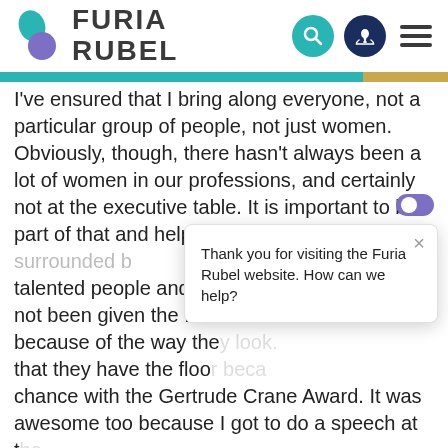[Figure (logo): Furia Rubel logo with teal leaf and purple circle shape, and company name FURIA RUBEL in bold dark letters]
I've ensured that I bring along everyone, not a particular group of people, not just women. Obviously, though, there hasn't always been a lot of women in our professions, and certainly not at the executive table. It is important to be part of that and help women be seen. We are surrounded by many talented people and often those people have not been given the floor to speak, sometimes because of the way they look. I was able to give that they have the floor because I had the chance with the Gertrude Crane Award. It was awesome too because I got to do a speech at the award ceremony and I got to talk about all of the opportunities that I've had, but also that I created for
Thank you for visiting the Furia Rubel website. How can we help?